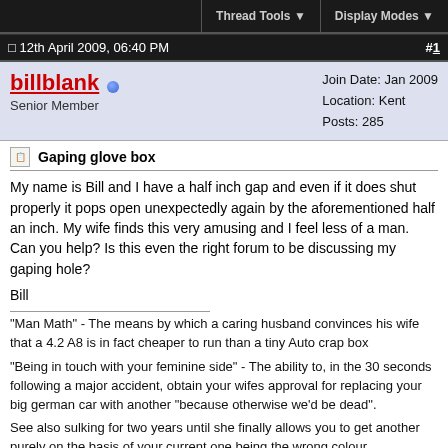Thread Tools  Display Modes
12th April 2009, 06:40 PM  #1
billblank  Senior Member  Join Date: Jan 2009  Location: Kent  Posts: 285
Gaping glove box
My name is Bill and I have a half inch gap and even if it does shut properly it pops open unexpectedly again by the aforementioned half an inch. My wife finds this very amusing and I feel less of a man. Can you help? Is this even the right forum to be discussing my gaping hole?

Bill
"Man Math" - The means by which a caring husband convinces his wife that a 4.2 A8 is in fact cheaper to run than a tiny Auto crap box
"Being in touch with your feminine side" - The ability to, in the 30 seconds following a major accident, obtain your wifes approval for replacing your big german car with another "because otherwise we'd be dead".
See also sulking for two years until she finally allows you to get another purely on the basis of your current one being the wrong colour.